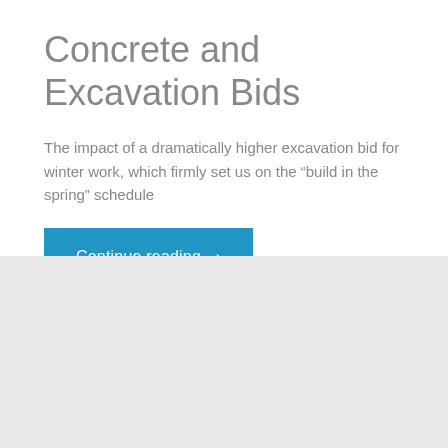Concrete and Excavation Bids
The impact of a dramatically higher excavation bid for winter work, which firmly set us on the “build in the spring” schedule
Continue reading ›